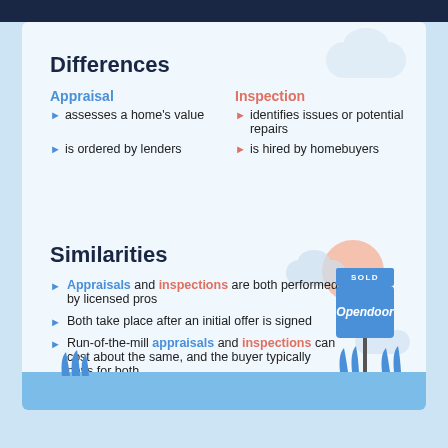Differences
Appraisal
Inspection
assesses a home's value
identifies issues or potential repairs
is ordered by lenders
is hired by homebuyers
Similarities
Appraisals and inspections are both performed by licensed pros
Both take place after an initial offer is signed
Run-of-the-mill appraisals and inspections can cost about the same, and the buyer typically pays for both
[Figure (illustration): Opendoor real estate sign with SOLD banner on a pole]